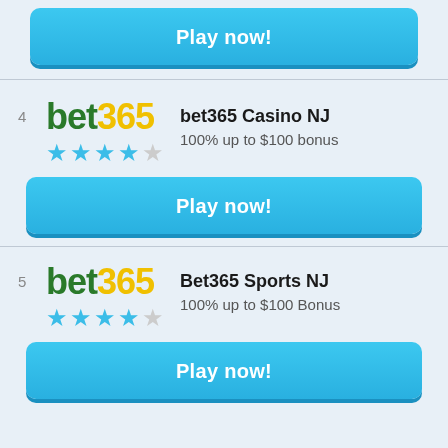[Figure (other): Play now button at top (partially visible, cropped)]
[Figure (other): Listing item #4: bet365 Casino NJ, 4-star rating, 100% up to $100 bonus, Play now button]
[Figure (other): Listing item #5: Bet365 Sports NJ, 4-star rating, 100% up to $100 Bonus, Play now button]